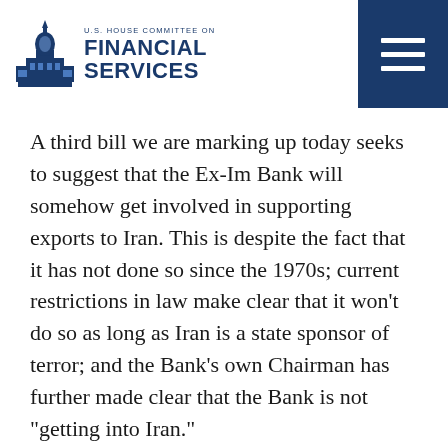U.S. House Committee on Financial Services
A third bill we are marking up today seeks to suggest that the Ex-Im Bank will somehow get involved in supporting exports to Iran. This is despite the fact that it has not done so since the 1970s; current restrictions in law make clear that it won’t do so as long as Iran is a state sponsor of terror; and the Bank’s own Chairman has further made clear that the Bank is not “getting into Iran.”
While the bill solidifies the Bank’s current